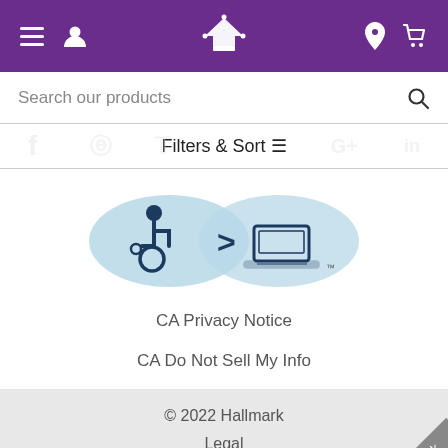Hallmark navigation header with menu, user, crown logo, location, and cart icons
Search our products
Filters & Sort
[Figure (logo): Accessibility icon (wheelchair user) with arrow pointing to laptop/computer icon, indicating accessible technology]
CA Privacy Notice
CA Do Not Sell My Info
© 2022 Hallmark
Legal
Feedback